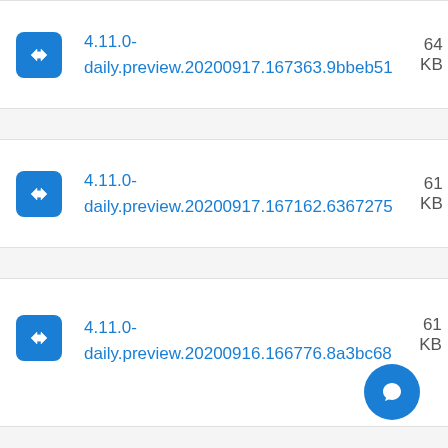4.11.0-daily.preview.20200917.167363.9bbeb51  64 KB
4.11.0-daily.preview.20200917.167162.6367275  61 KB
4.11.0-daily.preview.20200916.166776.8a3bc68  61 KB